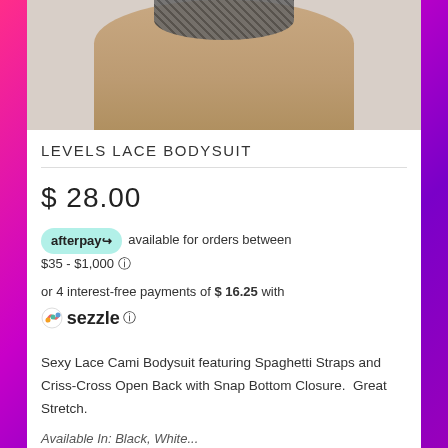[Figure (photo): Product photo showing lower torso wearing a lace bodysuit/thong, photographed against a light gray background]
LEVELS LACE BODYSUIT
$ 28.00
afterpay available for orders between $35 - $1,000 ⓘ
or 4 interest-free payments of $ 16.25 with sezzle ⓘ
Sexy Lace Cami Bodysuit featuring Spaghetti Straps and Criss-Cross Open Back with Snap Bottom Closure.  Great Stretch.
Available In: Black, White...